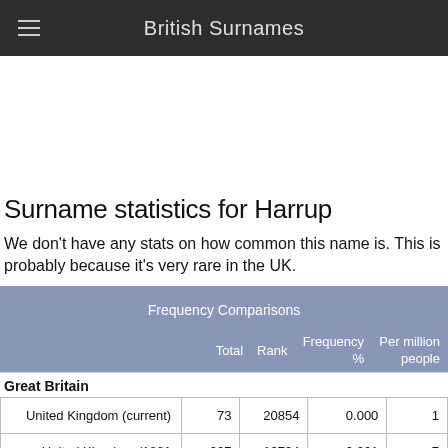British Surnames
Surname statistics for Harrup
We don't have any stats on how common this name is. This is probably because it's very rare in the UK.
|  | Total | Rank | Frequency % | Per million people |
| --- | --- | --- | --- | --- |
| Great Britain |  |  |  |  |
| United Kingdom (current) | 73 | 20854 | 0.000 | 1 |
| United Kingdom (1881 | 207 | 12734 | 0.001 | 7 |